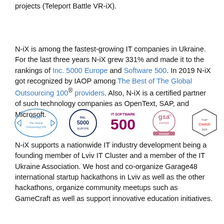projects (Teleport Battle VR-iX).
N-iX is among the fastest-growing IT companies in Ukraine. For the last three years N-iX grew 331% and made it to the rankings of Inc. 5000 Europe and Software 500. In 2019 N-iX got recognized by IAOP among The Best of The Global Outsourcing 100® providers. Also, N-iX is a certified partner of such technology companies as OpenText, SAP, and Microsoft.
[Figure (logo): Row of five logos: IAOP The Global Outsourcing 100, Inc. 5000 Europe, IT Software 500, gsa UK Winner, Clutch]
N-iX supports a nationwide IT industry development being a founding member of Lviv IT Cluster and a member of the IT Ukraine Association. We host and co-organize Garage48 international startup hackathons in Lviv as well as the other hackathons, organize community meetups such as GameCraft as well as support innovative education initiatives.